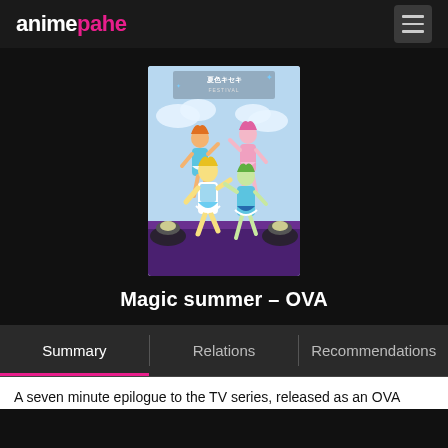animepahe
[Figure (illustration): Anime cover art for 'Magic summer - OVA' showing four anime girl characters in idol costumes on a stage with Japanese text '夏色キセキ FESTIVAL' at the top]
Magic summer - OVA
Summary | Relations | Recommendations
A seven minute epilogue to the TV series, released as an OVA